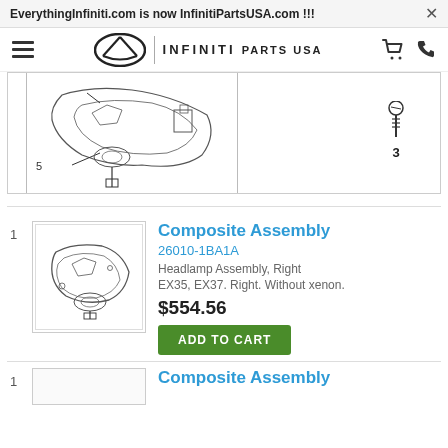EverythingInfiniti.com is now InfinitiPartsUSA.com !!!
[Figure (logo): Infiniti Parts USA website header with hamburger menu, Infiniti logo, PARTS USA text, shopping cart icon, and phone icon]
[Figure (engineering-diagram): Partial engineering diagram of headlamp assembly showing parts labeled 5 and 3 with line callouts]
1
[Figure (illustration): Thumbnail image of Composite Assembly headlamp part]
Composite Assembly
26010-1BA1A
Headlamp Assembly, Right
EX35, EX37. Right. Without xenon.
$554.56
ADD TO CART
1
Composite Assembly